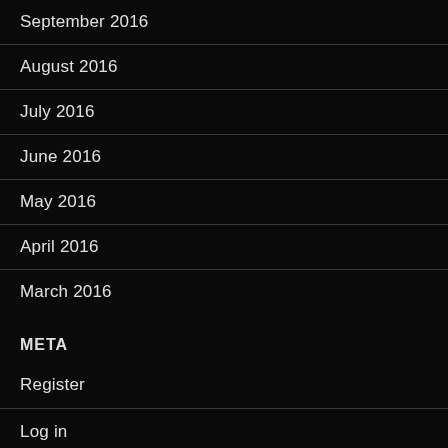September 2016
August 2016
July 2016
June 2016
May 2016
April 2016
March 2016
META
Register
Log in
Entries RSS